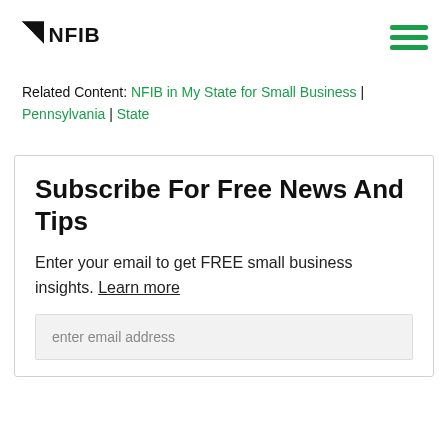NFIB logo and navigation menu
Related Content: NFIB in My State for Small Business | Pennsylvania | State
Subscribe For Free News And Tips
Enter your email to get FREE small business insights. Learn more
enter email address